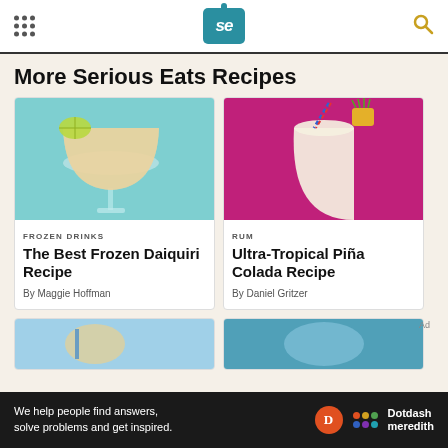Serious Eats
More Serious Eats Recipes
[Figure (photo): A frozen daiquiri in a coupe glass with a lime wedge on a teal background]
FROZEN DRINKS
The Best Frozen Daiquiri Recipe
By Maggie Hoffman
[Figure (photo): A creamy pina colada in a tall glass with pineapple garnish and striped straw on a magenta background]
RUM
Ultra-Tropical Piña Colada Recipe
By Daniel Gritzer
[Figure (photo): Partial view of a cocktail with blue elements]
[Figure (photo): Partial view of a blue cocktail]
We help people find answers, solve problems and get inspired.